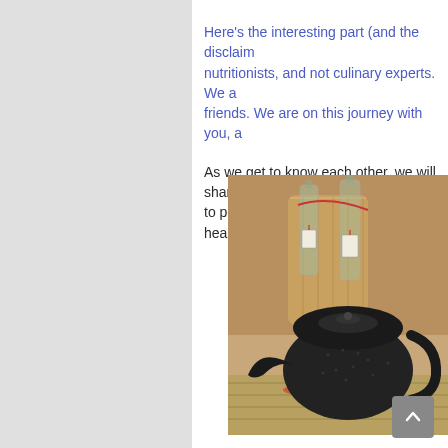Here's the interesting part (and the disclaim... nutritionists, and not culinary experts. We a... friends. We are on this journey with you, a...
As we get to know each other, we will shar... to persist in this journey to better health.  W...
[Figure (photo): A dark cast iron teapot with spout in the foreground, and glass bottles with tags in the background, on a bamboo mat surface.]